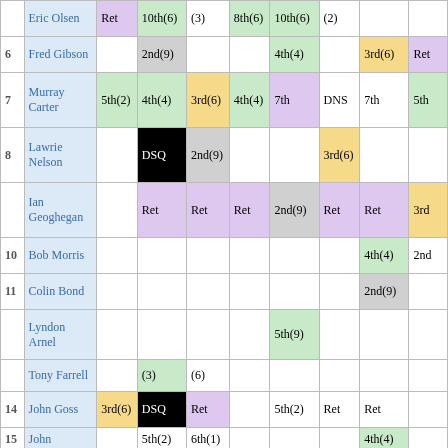| # | Name | R1 | R2 | R3 | R4 | R5 | R6 | R7 | R8 |
| --- | --- | --- | --- | --- | --- | --- | --- | --- | --- |
|  | Eric Olsen | Ret | 10th(6) | (3) | 8th(6) | 10th(6) | (2) |  |  |
| 6 | Fred Gibson |  | 2nd(9) |  |  | 4th(4) |  | 3rd(6) | Ret |
| 7 | Murray Carter | 5th(2) | 4th(4) | 3rd(6) | 4th(4) | 7th | DNS | 7th | 5th |
| 8 | Lawrie Nelson |  | DSQ | 2nd(9) |  |  | 3rd(6) |  |  |
|  | Ian Geoghegan |  | Ret | Ret | Ret | 2nd(9) | Ret | Ret | 3rd |
| 10 | Bob Morris |  |  |  |  |  |  | 4th(4) | 2nd |
| 11 | Colin Bond |  |  |  |  |  |  | 2nd(9) |  |
|  | Lyndon Arnel |  |  |  |  | 5th(9) |  |  |  |
|  | Tony Farrell |  | (3) | (6) |  |  |  |  |  |
| 14 | John Goss | 3rd(6) | DSQ | Ret |  | 5th(2) | Ret | Ret |  |
| 15 | John |  | 5th(2) | 6th(1) |  |  |  | 4th(4) |  |